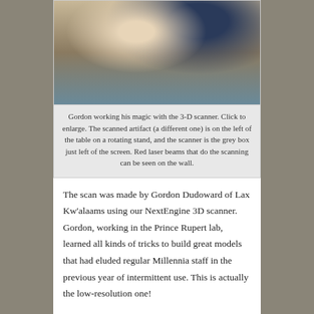[Figure (photo): Person working at a computer desk with a 3-D scanner setup. The scanned artifact is on the left of the table on a rotating stand, and the scanner is the grey box just left of the screen. Red laser beams can be seen on the wall.]
Gordon working his magic with the 3-D scanner. Click to enlarge. The scanned artifact (a different one) is on the left of the table on a rotating stand, and the scanner is the grey box just left of the screen. Red laser beams that do the scanning can be seen on the wall.
The scan was made by Gordon Dudoward of Lax Kw'alaams using our NextEngine 3D scanner.  Gordon, working in the Prince Rupert lab, learned all kinds of tricks to build great models that had eluded regular Millennia staff in the previous year of intermittent use. This is actually the low-resolution one!
The 3-D version shown here is grey scale; we couldn't find a way to easily bring you the